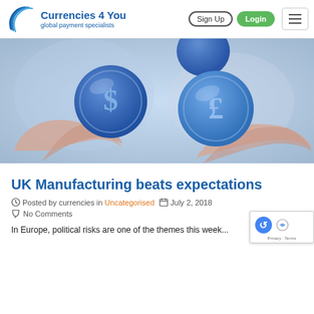Currencies 4 You — global payment specialists | Sign Up | Login
[Figure (photo): Two hands open with blue metallic coins floating above them — one coin shows a dollar sign ($) and another shows a pound sterling sign (£), set against a light blue blurred background.]
UK Manufacturing beats expectations
Posted by currencies in Uncategorised   July 2, 2018
No Comments
In Europe, political risks are one of the themes this week...